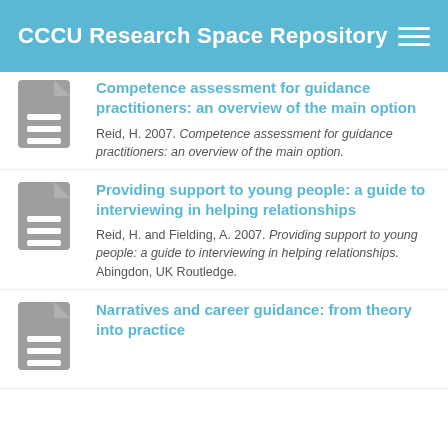CCCU Research Space Repository
Competence assessment for guidance practitioners: an overview of the main option
Reid, H. 2007. Competence assessment for guidance practitioners: an overview of the main option.
Providing support to young people: a guide to interviewing in helping relationships
Reid, H. and Fielding, A. 2007. Providing support to young people: a guide to interviewing in helping relationships. Abingdon, UK Routledge.
Narratives and career guidance: from theory into practice